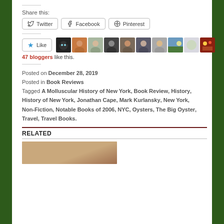Share this:
Twitter
Facebook
Pinterest
47 bloggers like this.
Posted on December 28, 2019
Posted in Book Reviews
Tagged A Molluscular History of New York, Book Review, History, History of New York, Jonathan Cape, Mark Kurlansky, New York, Non-Fiction, Notable Books of 2006, NYC, Oysters, The Big Oyster, Travel, Travel Books.
RELATED